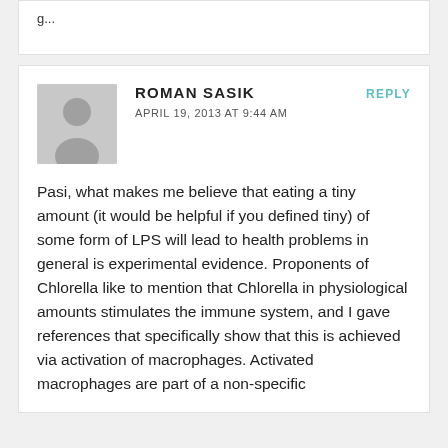g...
ROMAN SASIK
APRIL 19, 2013 AT 9:44 AM
REPLY
Pasi, what makes me believe that eating a tiny amount (it would be helpful if you defined tiny) of some form of LPS will lead to health problems in general is experimental evidence. Proponents of Chlorella like to mention that Chlorella in physiological amounts stimulates the immune system, and I gave references that specifically show that this is achieved via activation of macrophages. Activated macrophages are part of a non-specific